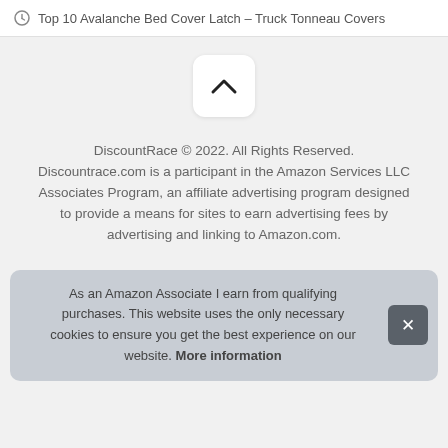Top 10 Avalanche Bed Cover Latch – Truck Tonneau Covers
[Figure (other): Scroll-to-top button with chevron/up arrow on light gray background]
DiscountRace © 2022. All Rights Reserved. Discountrace.com is a participant in the Amazon Services LLC Associates Program, an affiliate advertising program designed to provide a means for sites to earn advertising fees by advertising and linking to Amazon.com.
As an Amazon Associate I earn from qualifying purchases. This website uses the only necessary cookies to ensure you get the best experience on our website. More information